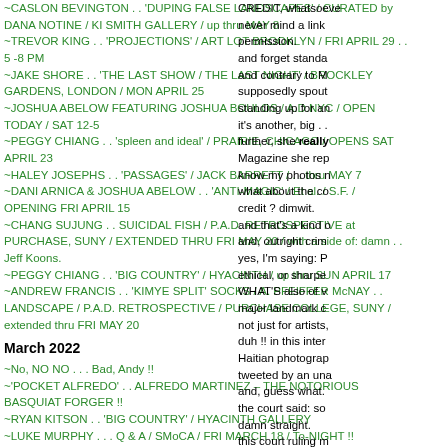~CASLON BEVINGTON . . 'DUPING FALSE LANDSCAPES' / CURATED by DANA NOTINE / KI SMITH GALLERY / up thru MAY 8
~TREVOR KING . . 'PROJECTIONS' / ART LOT BROOKLYN / FRI APRIL 29 . . 5 -8 PM
~JAKE SHORE . . 'THE LAST SHOW / THE LAST NIGHT' / BROCKLEY GARDENS, LONDON / MON APRIL 25
~JOSHUA ABELOW FEATURING JOSHUA BOULOS / A.D.NYC / OPEN TODAY / SAT 12-5
~PEGGY CHIANG . . 'spleen and ideal' / PRAIRIE, CHICAGO / OPENS SAT APRIL 23
~HALEY JOSEPHS . . 'PASSAGES' / JACK BARRETT / . . thru MAY 7
~DANI ARNICA & JOSHUA ABELOW . . 'ANTI-MAGIC' / Et al. / S.F. / OPENING FRI APRIL 15
~CHANG SUJUNG . . SUICIDAL FISH / P.A.D. RETROSPECTIVE at PURCHASE, SUNY / EXTENDED THRU FRI MAY 20 / with a side of: damn . . Jeff Koons.
~PEGGY CHIANG . . 'BIG COUNTRY' / HYACINTH / up thru SUN APRIL 17
~ANDREW FRANCIS . . 'KIMYE SPLIT' SOCKS / A. PFEIFFER McNAY . . LANDSCAPE / P.A.D. RETROSPECTIVE / PURCHASE COLLEGE, SUNY / extended thru FRI MAY 20
March 2022
~No, NO NO . . . Bad, Andy !!
~'POCKET ALFREDO' . . ALFREDO MARTINEZ – THE NOTORIOUS BASQUIAT FORGER !!
~RYAN KITSON . . 'BIG COUNTRY' / HYACINTH GALLERY
~LUKE MURPHY . . . Q & A / SMoCA / FRI MARCH 18 / To-NIGHT !!
~TOM FORKIN . . 'THE ELECTRICIAN' / SOMEDAY / up thru MARCH 19
~NOAH BECKER INTERVIEWS . . ANNA DELVEY !!
~'BIG COUNTRY' . . GROUP SHOW / HYACINTH / OPENS . . FRI MARCH 11
~BEN DUAX . . 'l on air an Fbeur' / HYACINTH / last weekend
CREDIT, whatsoever, never mind a link or permission. and forget standa and contrary to M supposedly spout standing up for an it's another, big . . further, she really Magazine she rep know my photos n what about the co credit ? dimwit. and that's a kind o and, outright crim yes, I'm saying: P ethical, or sharpe WHAT'S also of v major landmark c not just for artists, duh !! in this inter Haitian photograp tweeted by an una and, guess what. the court said: so damn straight. this court ruling m on the publisher and p.s. it only tak it comes to docun in fact most of the